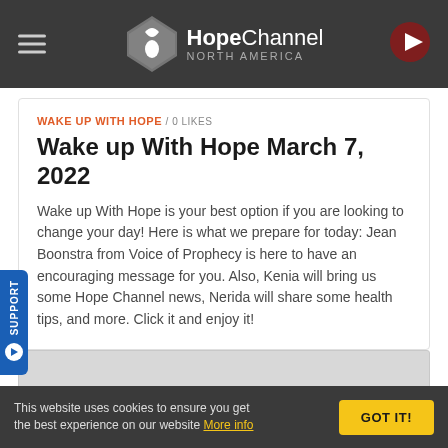Hope Channel North America
WAKE UP WITH HOPE / 0 LIKES
Wake up With Hope March 7, 2022
Wake up With Hope is your best option if you are looking to change your day! Here is what we prepare for today: Jean Boonstra from Voice of Prophecy is here to have an encouraging message for you. Also, Kenia will bring us some Hope Channel news, Nerida will share some health tips, and more. Click it and enjoy it!
[Figure (other): Gray media/video placeholder area]
This website uses cookies to ensure you get the best experience on our website More info